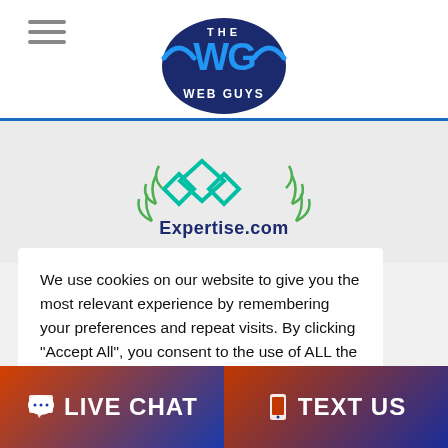The Web Guys logo and hamburger menu
[Figure (logo): The Web Guys logo — navy circle with blue WG letters and 'WEB GUYS' text below]
[Figure (logo): Expertise.com logo — teal diamond pattern with laurel leaves and Expertise.com text]
We use cookies on our website to give you the most relevant experience by remembering your preferences and repeat visits. By clicking "Accept All", you consent to the use of ALL the cookies. However, you may visit "Cookie Settings" to provide a controlled consent.
Cookie Settings | Accept All
LIVE CHAT | TEXT US